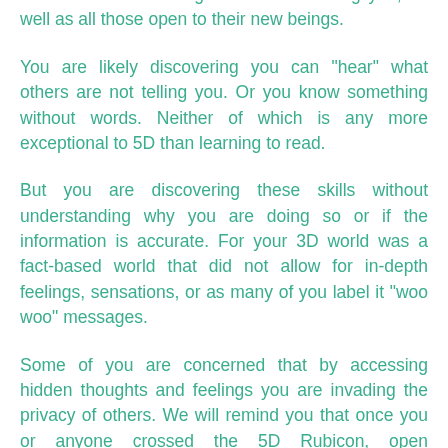new actions and thoughts are bombarding you, as well as all those open to their new beings.
You are likely discovering you can "hear" what others are not telling you. Or you know something without words. Neither of which is any more exceptional to 5D than learning to read.
But you are discovering these skills without understanding why you are doing so or if the information is accurate. For your 3D world was a fact-based world that did not allow for in-depth feelings, sensations, or as many of you label it “woo woo” messages.
Some of you are concerned that by accessing hidden thoughts and feelings you are invading the privacy of others. We will remind you that once you or anyone crossed the 5D Rubicon, open communication became the operative interaction. So it is those you can “read” or “know” without